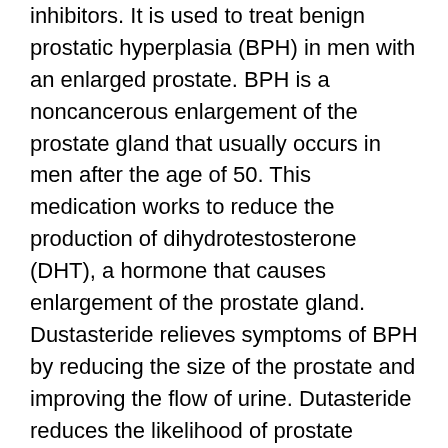inhibitors. It is used to treat benign prostatic hyperplasia (BPH) in men with an enlarged prostate. BPH is a noncancerous enlargement of the prostate gland that usually occurs in men after the age of 50. This medication works to reduce the production of dihydrotestosterone (DHT), a hormone that causes enlargement of the prostate gland. Dustasteride relieves symptoms of BPH by reducing the size of the prostate and improving the flow of urine. Dutasteride reduces the likelihood of prostate surgery for men with BPH. The recommended dose of Dutasteride is 0.5mg once daily.
Manufacturer Information
We currently have the brand from Turkey and the generic from India. Avodart comes in capsule form available in 0.5 mg.
Side Effects